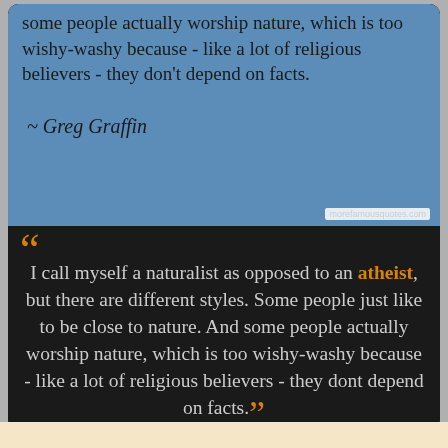[Figure (infographic): Blue background card showing partial quote text in dark color: 'some people actually worship nature, which is too wishy-washy because - like a lot of religious believers - they don't depend on facts. ~ Greg Graffin' with watermark 'morefamousquotes.com']
“ I call myself a naturalist as opposed to an atheist, but there are different styles. Some people just like to be close to nature. And some people actually worship nature, which is too wishy-washy because - like a lot of religious believers - they dont depend on facts.”
— Greg Graffin —